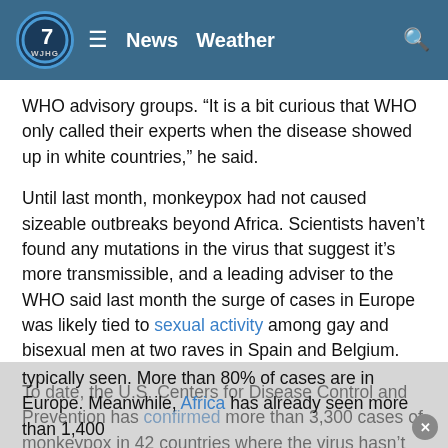WJHG 7 | News  Weather
WHO advisory groups. “It is a bit curious that WHO only called their experts when the disease showed up in white countries,” he said.
Until last month, monkeypox had not caused sizeable outbreaks beyond Africa. Scientists haven’t found any mutations in the virus that suggest it’s more transmissible, and a leading adviser to the WHO said last month the surge of cases in Europe was likely tied to sexual activity among gay and bisexual men at two raves in Spain and Belgium.
To date, the U.S. Centers for Disease Control and Prevention has confirmed more than 3,300 cases of monkeypox in 42 countries where the virus hasn’t been typically seen. More than 80% of cases are in Europe. Meanwhile, Africa has already seen more than 1,400